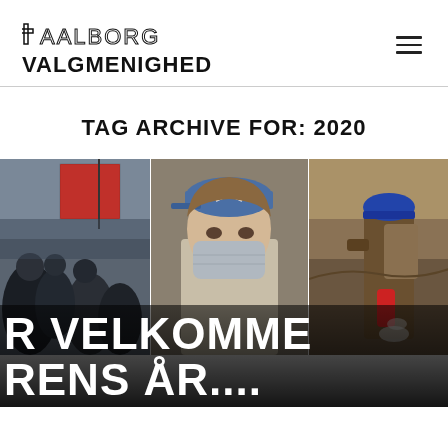AALBORG VALGMENIGHED
TAG ARCHIVE FOR: 2020
[Figure (photo): Three-panel collage photo: left panel shows protesters with flags at a demonstration; center panel shows a young person wearing a face mask and blue cap; right panel shows a person wearing a hard hat and carrying equipment on a hillside. Below the photos is a large bold white text overlay reading 'R VELKOMME RENS ÅR...' on a dark background.]